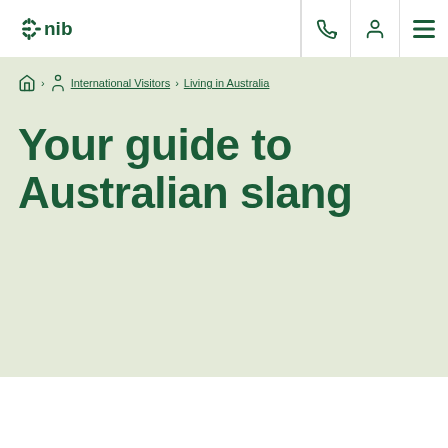nib
Home > International Visitors > Living in Australia
Your guide to Australian slang